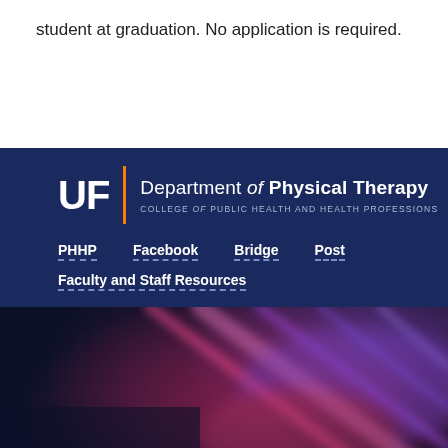student at graduation. No application is required.
[Figure (logo): UF Department of Physical Therapy, College of Public Health and Health Professions logo with orange vertical bar separator]
PHHP
Facebook
Bridge
Post
Faculty and Staff Resources
[Figure (photo): Abstract dark background image with red and purple glowing light streaks, appears to be a microscopic or artistic photograph]